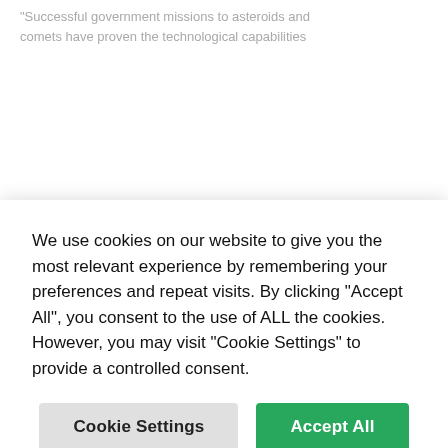Successful government missions to asteroids and comets have proven the technological capabilities
We use cookies on our website to give you the most relevant experience by remembering your preferences and repeat visits. By clicking "Accept All", you consent to the use of ALL the cookies. However, you may visit "Cookie Settings" to provide a controlled consent.
autonomous robotics, better space communications, and radiation-tolerant computers. Despite these challenges, DSI intends to mine its first asteroid before 2030, and this week announced